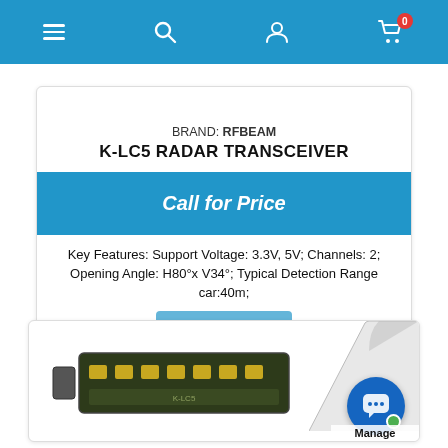Navigation bar with menu, search, account, and cart (0 items) icons
BRAND: RFBEAM
K-LC5 RADAR TRANSCEIVER
Call for Price
Key Features: Support Voltage: 3.3V, 5V; Channels: 2; Opening Angle: H80°x V34°; Typical Detection Range car:40m;
Add to cart
In stock
[Figure (photo): Bottom product card showing a PCB radar transceiver module and a paper/document curl in upper right, with a blue chat/support bubble labeled Manage in lower right corner]